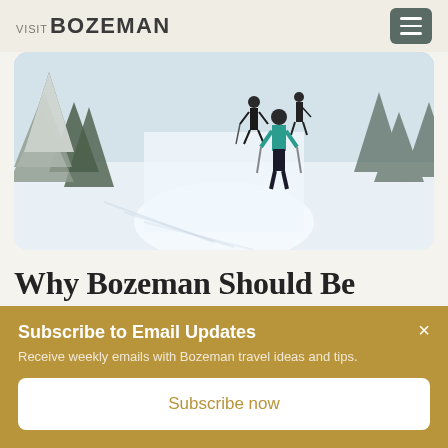VISIT BOZEMAN
[Figure (photo): Skiers on a snowy trail through a pine forest, one person wearing a teal jacket, winter mountain scene with deep snow]
Why Bozeman Should Be Your First Choice For A Ski Vacation
Subscribe to Email Updates
Receive weekly emails with Bozeman travel ideas and tips.
Subscribe now